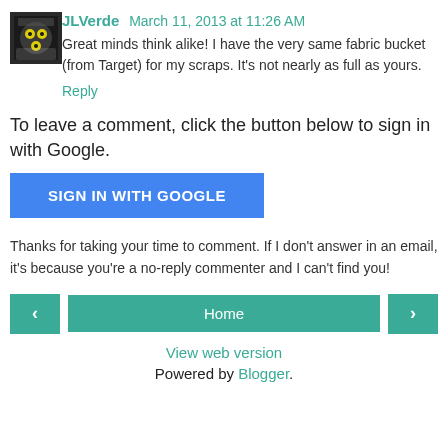[Figure (photo): Avatar image of user JLVerde, showing a dark craft/sewing themed icon]
JLVerde March 11, 2013 at 11:26 AM
Great minds think alike! I have the very same fabric bucket (from Target) for my scraps. It's not nearly as full as yours.
Reply
To leave a comment, click the button below to sign in with Google.
SIGN IN WITH GOOGLE
Thanks for taking your time to comment. If I don't answer in an email, it's because you're a no-reply commenter and I can't find you!
‹
Home
›
View web version
Powered by Blogger.